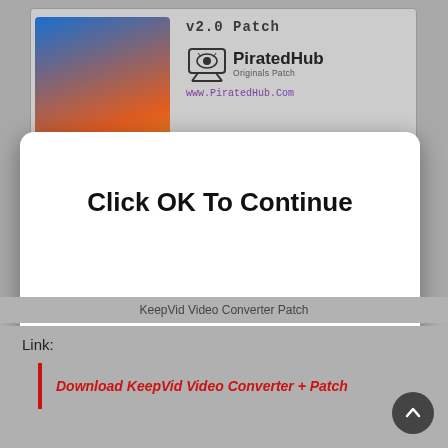[Figure (screenshot): Screenshot of KeepVid Video Converter patch application window (PiratedHub) with 'v2.0 Patch' heading, monitor logo, www.PiratedHub.Com URL, Installed Path field, About and Patch buttons, overlaid by an OS dialog box reading 'Click OK To Continue' with an OK button.]
KeepVid Video Converter Patch
Link:
Download KeepVid Video Converter + Patch